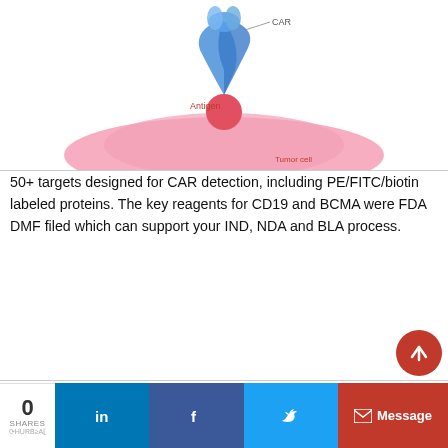[Figure (illustration): Illustration of CAR-T cell therapy showing a blue CAR construct on a cell interacting with an antigen on a pink tumor cell. Labels: 'CAR', 'Antigen', 'Tumor cell'.]
50+ targets designed for CAR detection, including PE/FITC/biotin labeled proteins. The key reagents for CD19 and BCMA were FDA DMF filed which can support your IND, NDA and BLA process.
Discovery Solutions for CGT
[Figure (illustration): Circular diagram showing CGT Solutions workflow with a patient silhouette on the left, T cells (orange virus-like particles) arranged in a circle with arrows, and a DNA helix on the right. Label 'CGT Solutions' in red at top, 'T cells' in red on right side.]
GMP grade cytokines, reagents for cell activation, gene edition, DNA/RNA removal, etc. Particularly focus on product
0 SHARES | in | f | (twitter) | Message